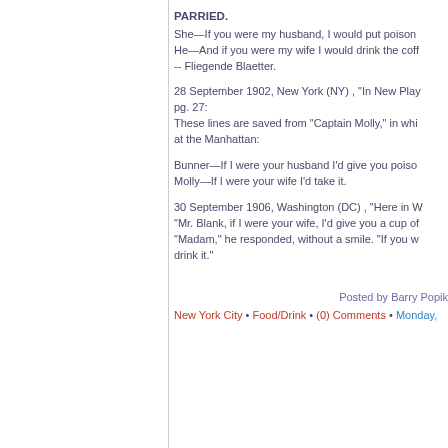PARRIED.
She—If you were my husband, I would put poison
He—And if you were my wife I would drink the coff
-- Fliegende Blaetter.
28 September 1902, New York (NY) , "In New Play
pg. 27:
These lines are saved from "Captain Molly," in whi
at the Manhattan:
Bunner—If I were your husband I'd give you poiso
Molly—If I were your wife I'd take it.
30 September 1906, Washington (DC) , "Here in W
"Mr. Blank, if I were your wife, I'd give you a cup of
"Madam," he responded, without a smile. "If you w
drink it."
Posted by Barry Popik
New York City • Food/Drink • (0) Comments • Monday,